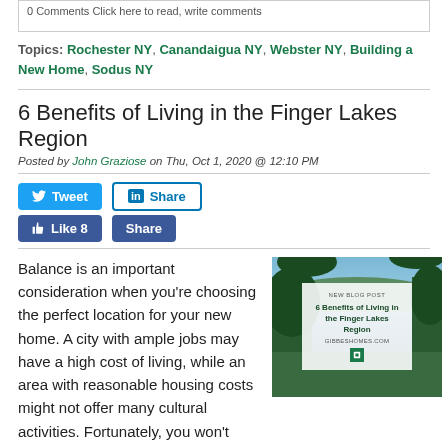0 Comments Click here to read, write comments
Topics: Rochester NY, Canandaigua NY, Webster NY, Building a New Home, Sodus NY
6 Benefits of Living in the Finger Lakes Region
Posted by John Graziose on Thu, Oct 1, 2020 @ 12:10 PM
[Figure (screenshot): Social sharing buttons: Tweet, Share (LinkedIn), Like 8, Share (Facebook)]
Balance is an important consideration when you're choosing the perfect location for your new home. A city with ample jobs may have a high cost of living, while an area with reasonable housing costs might not offer many cultural activities. Fortunately, you won't have to make any of these
[Figure (photo): Scenic photo of the Finger Lakes region showing a lake surrounded by green hills and trees, with a blog post overlay card reading '6 Benefits of Living in the Finger Lakes Region' and 'GIBBERISHOMES.COM']